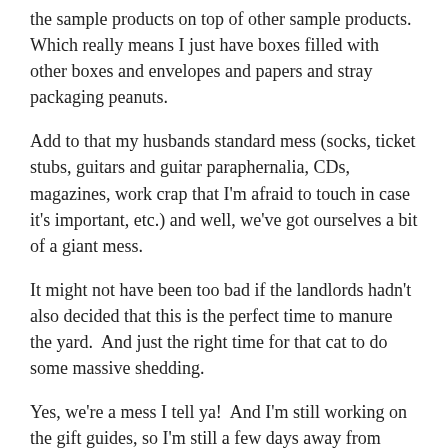the sample products on top of other sample products.  Which really means I just have boxes filled with other boxes and envelopes and papers and stray packaging peanuts.
Add to that my husbands standard mess (socks, ticket stubs, guitars and guitar paraphernalia, CDs, magazines, work crap that I'm afraid to touch in case it's important, etc.) and well, we've got ourselves a bit of a giant mess.
It might not have been too bad if the landlords hadn't also decided that this is the perfect time to manure the yard.  And just the right time for that cat to do some massive shedding.
Yes, we're a mess I tell ya!  And I'm still working on the gift guides, so I'm still a few days away from being able to do anything about it.
The sad part is that we decided that this semester, a portion of my UCLA money would go towards getting a cleaning...